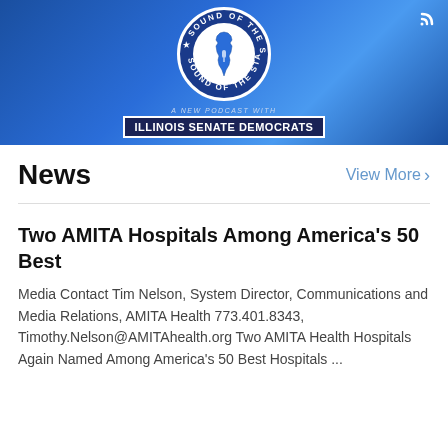[Figure (illustration): Sound of the State podcast banner with Illinois Senate Democrats logo. Blue gradient background with circular badge showing Illinois state outline and text 'SOUND OF THE STATE' around it. Text below reads 'A NEW PODCAST WITH ILLINOIS SENATE DEMOCRATS'. WiFi/signal icon in top right corner.]
News
View More >
Two AMITA Hospitals Among America's 50 Best
Media Contact Tim Nelson, System Director, Communications and Media Relations, AMITA Health 773.401.8343, Timothy.Nelson@AMITAhealth.org Two AMITA Health Hospitals Again Named Among America's 50 Best Hospitals ...